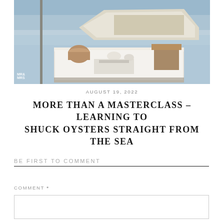[Figure (photo): Outdoor dockside table set with white tablecloth, wicker baskets, cups and items on a wooden pier with a boat and calm water in the background. Watermark 'MR& MRS' visible bottom left.]
AUGUST 19, 2022
MORE THAN A MASTERCLASS – LEARNING TO SHUCK OYSTERS STRAIGHT FROM THE SEA
BE FIRST TO COMMENT
COMMENT *